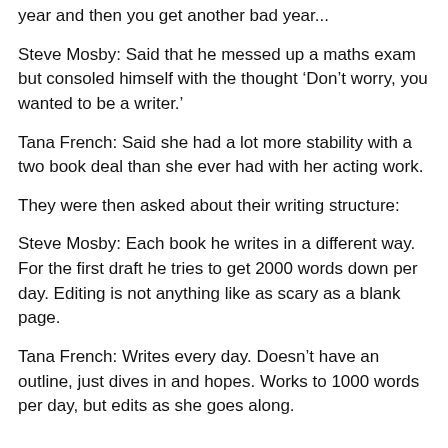year and then you get another bad year...
Steve Mosby: Said that he messed up a maths exam but consoled himself with the thought ‘Don’t worry, you wanted to be a writer.’
Tana French: Said she had a lot more stability with a two book deal than she ever had with her acting work.
They were then asked about their writing structure:
Steve Mosby: Each book he writes in a different way. For the first draft he tries to get 2000 words down per day. Editing is not anything like as scary as a blank page.
Tana French: Writes every day. Doesn’t have an outline, just dives in and hopes. Works to 1000 words per day, but edits as she goes along.